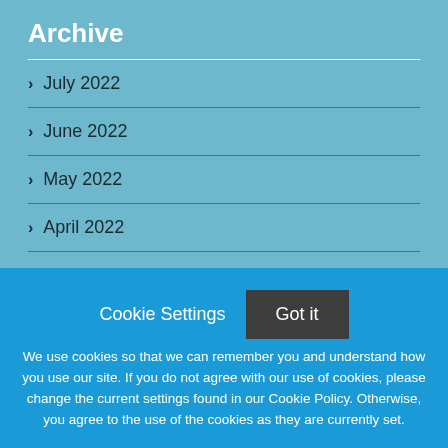Archive
July 2022
June 2022
May 2022
April 2022
Contributors
Cookie Settings
Got it
We use cookies so that we can remember you and understand how you use our site. If you do not agree with our use of cookies, please change the current settings found in our Cookie Policy. Otherwise, you agree to the use of the cookies as they are currently set.